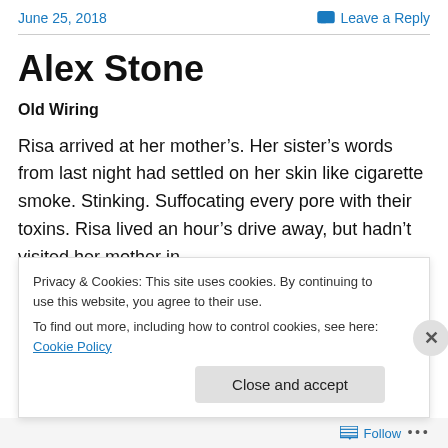June 25, 2018   Leave a Reply
Alex Stone
Old Wiring
Risa arrived at her mother’s. Her sister’s words from last night had settled on her skin like cigarette smoke. Stinking. Suffocating every pore with their toxins. Risa lived an hour’s drive away, but hadn’t visited her mother in
Privacy & Cookies: This site uses cookies. By continuing to use this website, you agree to their use.
To find out more, including how to control cookies, see here: Cookie Policy
Follow ...